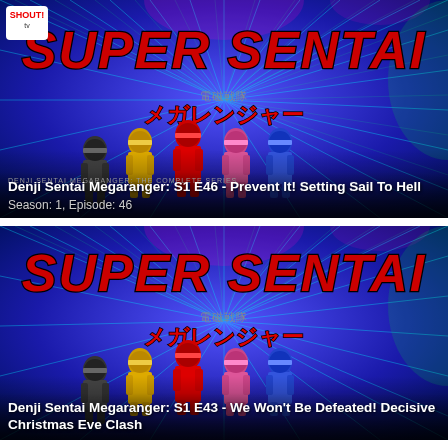[Figure (screenshot): Super Sentai Denji Sentai Megaranger complete series thumbnail showing 5 rangers in colored suits (black, yellow, red, pink, blue) against a blue starburst background with 'SUPER SENTAI' in large red italic letters and Japanese subtitle メガレンジャー. Shout! Factory TV logo in upper left.]
Denji Sentai Megaranger: S1 E46 - Prevent It! Setting Sail To Hell
Season: 1, Episode: 46
[Figure (screenshot): Super Sentai Denji Sentai Megaranger complete series thumbnail showing 5 rangers in colored suits against a blue starburst background with 'SUPER SENTAI' in large red italic letters and Japanese subtitle メガレンジャー.]
Denji Sentai Megaranger: S1 E43 - We Won't Be Defeated! Decisive Christmas Eve Clash